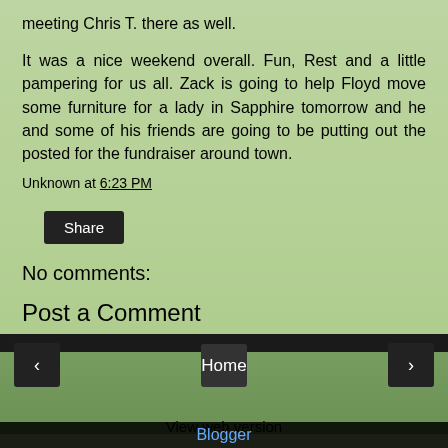meeting Chris T. there as well.
It was a nice weekend overall. Fun, Rest and a little pampering for us all. Zack is going to help Floyd move some furniture for a lady in Sapphire tomorrow and he and some of his friends are going to be putting out the posted for the fundraiser around town.
Unknown at 6:23 PM
Share
No comments:
Post a Comment
Home
View web version
Blogger